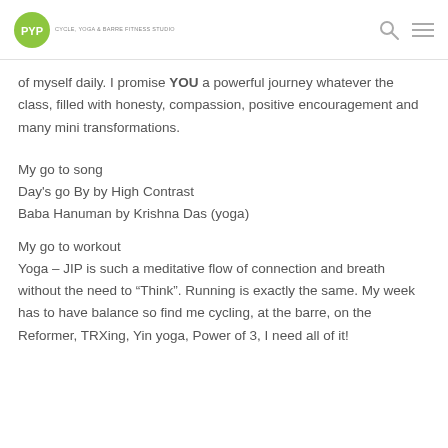PYP logo and navigation icons
of myself daily. I promise YOU a powerful journey whatever the class, filled with honesty, compassion, positive encouragement and many mini transformations.
My go to song
Day's go By by High Contrast
Baba Hanuman by Krishna Das (yoga)
My go to workout
Yoga – JIP is such a meditative flow of connection and breath without the need to “Think”. Running is exactly the same. My week has to have balance so find me cycling, at the barre, on the Reformer, TRXing, Yin yoga, Power of 3, I need all of it!